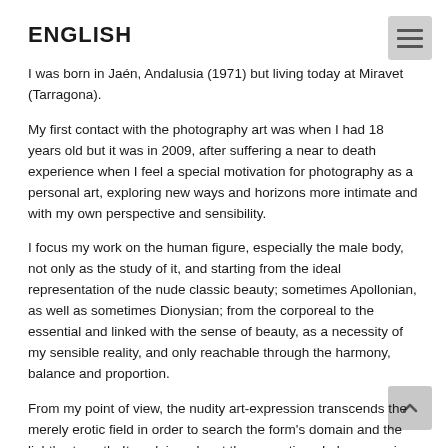ENGLISH
I was born in Jaén, Andalusia (1971) but living today at Miravet (Tarragona).
My first contact with the photography art was when I had 18 years old but it was in 2009, after suffering a near to death experience when I feel a special motivation for photography as a personal art, exploring new ways and horizons more intimate and with my own perspective and sensibility.
I focus my work on the human figure, especially the male body, not only as the study of it, and starting from the ideal representation of the nude classic beauty; sometimes Apollonian, as well as sometimes Dionysian; from the corporeal to the essential and linked with the sense of beauty, as a necessity of my sensible reality, and only reachable through the harmony, balance and proportion.
From my point of view, the nudity art-expression transcends the merely erotic field in order to search the form's domain and the light's strength. It explains why at the same time, I also conceive a desert landscape as an Apollonian nude expression, or see a sea-wave blast as pure Dionysiac manifestation.